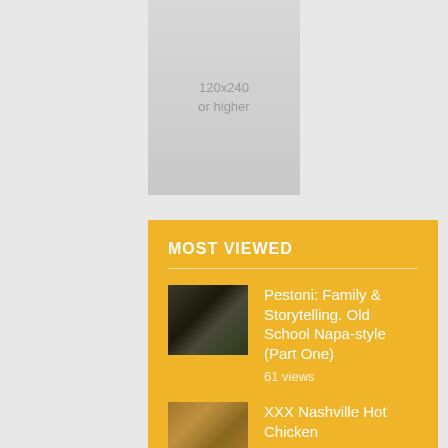[Figure (other): Ad placeholder box showing '120x240 or higher' in gray]
MOST VIEWED
Pestoni: Family & Storytelling. Old School Napa-style (Part One) — 61 views
XXX Nashville Hot Chicken — 28 views
(partial item at bottom)